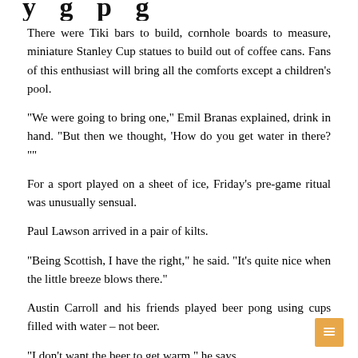y g p g
There were Tiki bars to build, cornhole boards to measure, miniature Stanley Cup statues to build out of coffee cans. Fans of this enthusiast will bring all the comforts except a children’s pool.
“We were going to bring one,” Emil Branas explained, drink in hand. “But then we thought, ‘How do you get water in there? “”
For a sport played on a sheet of ice, Friday’s pre-game ritual was unusually sensual.
Paul Lawson arrived in a pair of kilts.
“Being Scottish, I have the right,” he said. “It’s quite nice when the little breeze blows there.”
Austin Carroll and his friends played beer pong using cups filled with water – not beer.
“I don’t want the beer to get warm,” he says.